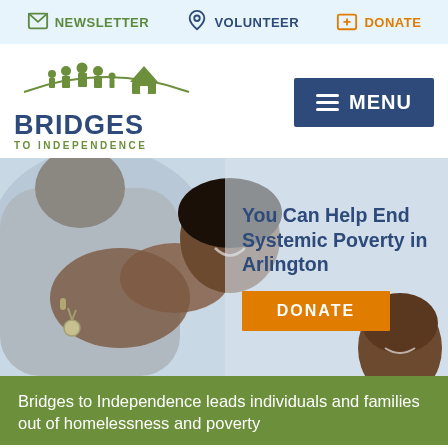NEWSLETTER  VOLUNTEER  DONATE
[Figure (logo): Bridges to Independence logo with green silhouette of people and house]
[Figure (other): Blue MENU button with hamburger icon]
[Figure (photo): Woman hugging someone while holding keys, smiling with eyes closed; child smiling in background]
You Can Help End Systemic Poverty in Arlington
[Figure (other): Orange DONATE button]
Bridges to Independence leads individuals and families out of homelessness and poverty